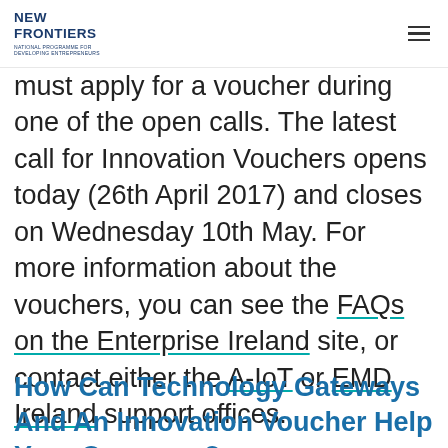NEW FRONTIERS – NATIONAL PROGRAMME FOR DEVELOPING ENTREPRENEURS
must apply for a voucher during one of the open calls. The latest call for Innovation Vouchers opens today (26th April 2017) and closes on Wednesday 10th May. For more information about the vouchers, you can see the FAQs on the Enterprise Ireland site, or contact either the A-IoT or EMD Ireland support offices.
How Can Technology Gateways And An Innovation Voucher Help Your Company?